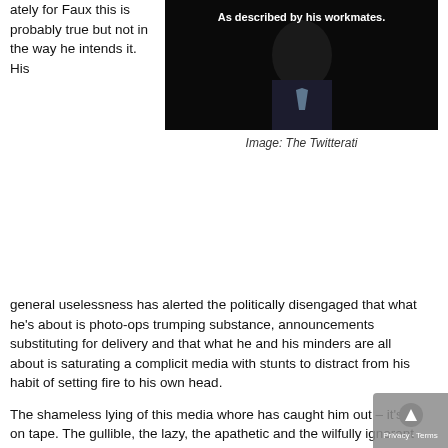ately for Faux this is probably true but not in the way he intends it. His
[Figure (photo): Photo of a man in a suit with text overlay 'As described by his workmates.']
Image: The Twitterati
general uselessness has alerted the politically disengaged that what he's about is photo-ops trumping substance, announcements substituting for delivery and that what he and his minders are all about is saturating a complicit media with stunts to distract from his habit of setting fire to his own head.
The shameless lying of this media whore has caught him out – it's all on tape. The gullible, the lazy, the apathetic and the wilfully ignorant have had the real ScoMo rubbed in their faces via monumental failures in national crises so his fatuous marketing schtick and relentless bullshitting is blowing back in many and varied forms including many takes on his self-applied, asinine nickname:
Scotty from Marketing, Diddley Scott and Smorph